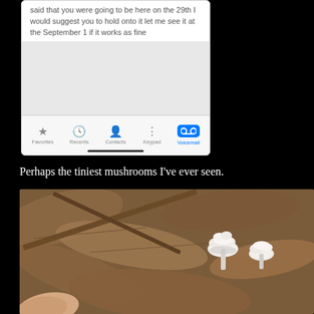[Figure (screenshot): iPhone screen showing a phone app voicemail/keypad screen with text message visible: 'said that you were going to be here on the 29th I would suggest you to hold onto it let me see it at the September 1 if it works as fine'. Bottom tab bar shows Favorites, Recents, Contacts, Keypad, and Voicemail (active/highlighted in blue).]
Perhaps the tiniest mushrooms I’ve ever seen.
[Figure (photo): Close-up photograph of very tiny white mushrooms growing among dead brown fallen leaves on forest floor. Two small white fuzzy/fluffy mushrooms are visible, with a finger partially visible in the lower left corner for scale.]